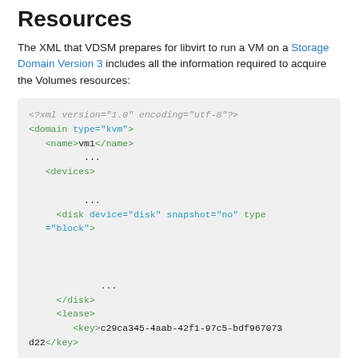Resources
The XML that VDSM prepares for libvirt to run a VM on a Storage Domain Version 3 includes all the information required to acquire the Volumes resources:
<?xml version="1.0" encoding="utf-8"?>
<domain type="kvm">
  <name>vm1</name>
  ...
  <devices>
    ...
    <disk device="disk" snapshot="no" type="block">
    ...
    </disk>
    <lease>
      <key>c29ca345-4aab-42f1-97c5-bdf967073d22</key>